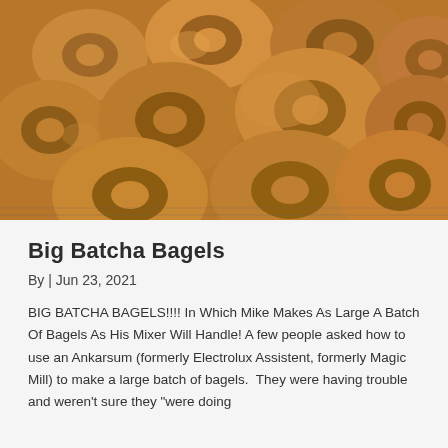[Figure (photo): A large pile of freshly baked plain bagels cooling on a wire rack, with golden-brown tops and characteristic ring shapes.]
Big Batcha Bagels
By | Jun 23, 2021
BIG BATCHA BAGELS!!!! In Which Mike Makes As Large A Batch Of Bagels As His Mixer Will Handle! A few people asked how to use an Ankarsum (formerly Electrolux Assistent, formerly Magic Mill) to make a large batch of bagels.  They were having trouble and weren't sure they "were doing